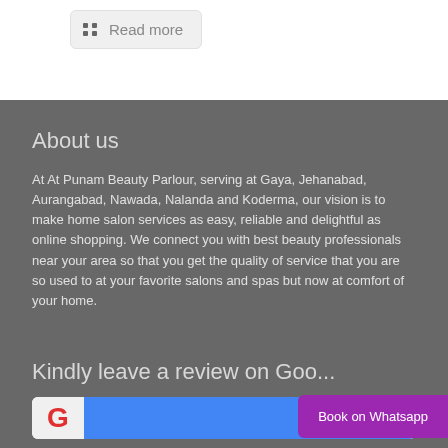Read more
About us
At At Punam Beauty Parlour, serving at Gaya, Jehanabad, Aurangabad, Nawada, Nalanda and Koderma, our vision is to make home salon services as easy, reliable and delightful as online shopping. We connect you with best beauty professionals near your area so that you get the quality of service that you are so used to at your favorite salons and spas but now at comfort of your home.
Kindly leave a review on Goo...
[Figure (screenshot): Google review button with red G logo and blue button]
Book on Whatsapp